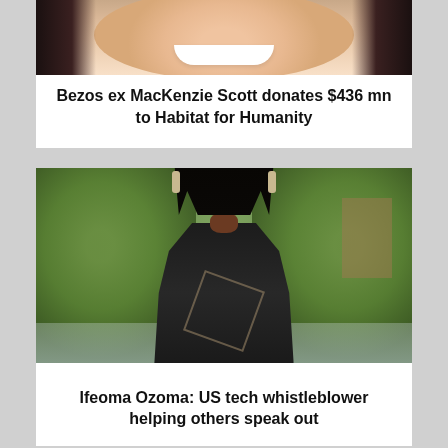[Figure (photo): Partial photo of a smiling woman (MacKenzie Scott) showing lower face/smile, cropped at top]
Bezos ex MacKenzie Scott donates $436 mn to Habitat for Humanity
[Figure (photo): Portrait photo of Ifeoma Ozoma, a Black woman with long braided hair wearing a black outfit, standing outdoors with trees and blue sky in background]
Ifeoma Ozoma: US tech whistleblower helping others speak out